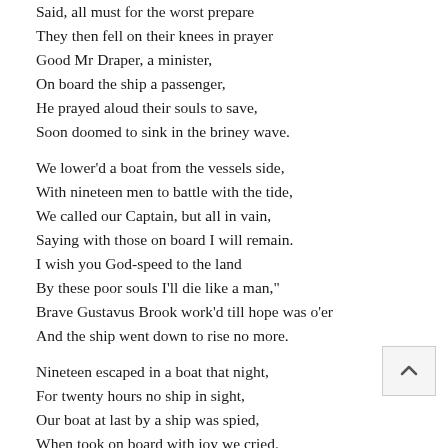Said, all must for the worst prepare
They then fell on their knees in prayer
Good Mr Draper, a minister,
On board the ship a passenger,
He prayed aloud their souls to save,
Soon doomed to sink in the briney wave.

We lower'd a boat from the vessels side,
With nineteen men to battle with the tide,
We called our Captain, but all in vain,
Saying with those on board I will remain.
I wish you God-speed to the land
By these poor souls I'll die like a man,"
Brave Gustavus Brook work'd till hope was o'er
And the ship went down to rise no more.

Nineteen escaped in a boat that night,
For twenty hours no ship in sight,
Our boat at last by a ship was spied,
When took on board with joy we cried.